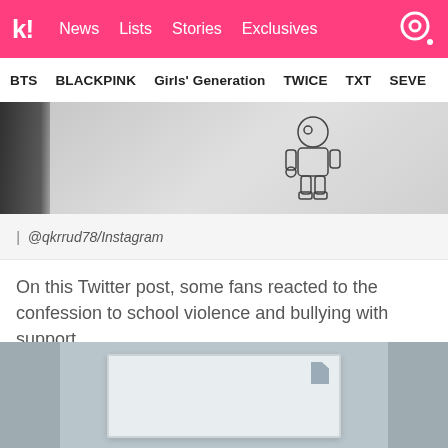k! News  Lists  Stories  Exclusives
BTS  BLACKPINK  Girls' Generation  TWICE  TXT  SEVE…
[Figure (photo): Person wearing a grey hoodie with a robot line drawing graphic; dark jacket visible on left edge]
| @qkrrud78/Instagram
On this Twitter post, some fans reacted to the confession to school violence and bullying with support.
[Figure (photo): A piece of paper or note card pinned or attached, shown partially, light blue-gray background]